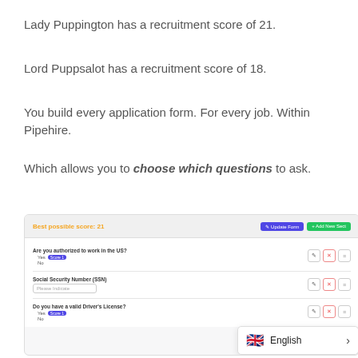Lady Puppington has a recruitment score of 21.
Lord Puppsalot has a recruitment score of 18.
You build every application form. For every job. Within Pipehire.
Which allows you to choose which questions to ask.
[Figure (screenshot): A Pipehire application form builder interface showing questions like 'Are you authorized to work in the US?' with a Score 1 badge for Yes, 'Social Security Number (SSN)' with a text input, and 'Do you have a valid Driver's License?' with a Score 1 badge for Yes, plus edit/delete/move icons and an English language popup in the bottom right.]